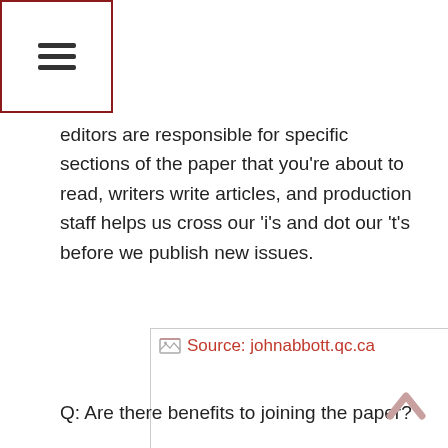☰
editors are responsible for specific sections of the paper that you're about to read, writers write articles, and production staff helps us cross our 'i's and dot our 't's before we publish new issues.
[Figure (other): Broken image placeholder with red alt text 'Source: johnabbott.qc.ca' and caption 'Source: johnabbott.qc.ca' below]
Q: Are there benefits to joining the paper?